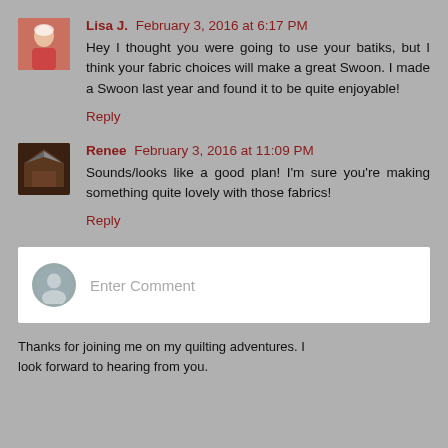Lisa J. February 3, 2016 at 6:17 PM
Hey I thought you were going to use your batiks, but I think your fabric choices will make a great Swoon. I made a Swoon last year and found it to be quite enjoyable!
Reply
Renee February 3, 2016 at 11:09 PM
Sounds/looks like a good plan! I'm sure you're making something quite lovely with those fabrics!
Reply
Enter Comment
Thanks for joining me on my quilting adventures. I look forward to hearing from you.